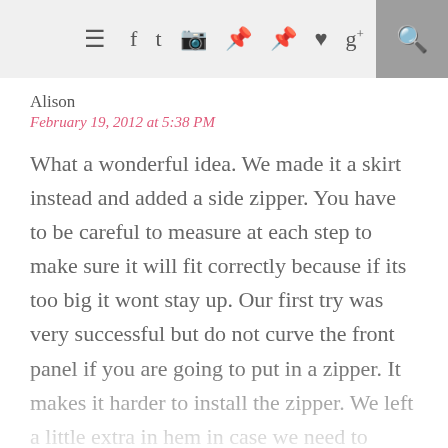≡ f t camera p p ♥ g+ 🔍
Alison
February 19, 2012 at 5:38 PM
What a wonderful idea. We made it a skirt instead and added a side zipper. You have to be careful to measure at each step to make sure it will fit correctly because if its too big it wont stay up. Our first try was very successful but do not curve the front panel if you are going to put in a zipper. It makes it harder to install the zipper. We left a little extra in hem in case we need to adjust later. We can it…